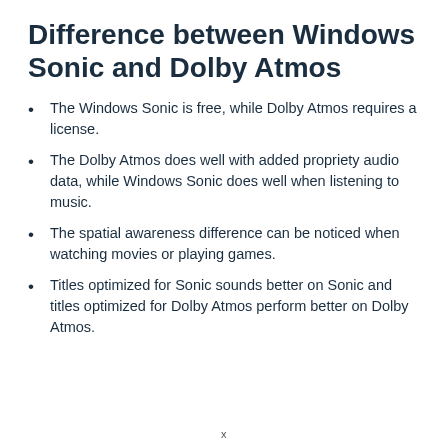Difference between Windows Sonic and Dolby Atmos
The Windows Sonic is free, while Dolby Atmos requires a license.
The Dolby Atmos does well with added propriety audio data, while Windows Sonic does well when listening to music.
The spatial awareness difference can be noticed when watching movies or playing games.
Titles optimized for Sonic sounds better on Sonic and titles optimized for Dolby Atmos perform better on Dolby Atmos.
x